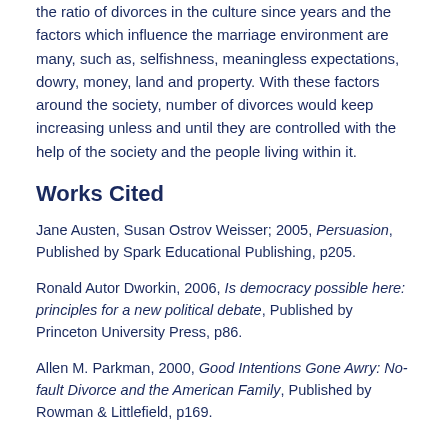the ratio of divorces in the culture since years and the factors which influence the marriage environment are many, such as, selfishness, meaningless expectations, dowry, money, land and property. With these factors around the society, number of divorces would keep increasing unless and until they are controlled with the help of the society and the people living within it.
Works Cited
Jane Austen, Susan Ostrov Weisser; 2005, Persuasion, Published by Spark Educational Publishing, p205.
Ronald Autor Dworkin, 2006, Is democracy possible here: principles for a new political debate, Published by Princeton University Press, p86.
Allen M. Parkman, 2000, Good Intentions Gone Awry: No-fault Divorce and the American Family, Published by Rowman & Littlefield, p169.